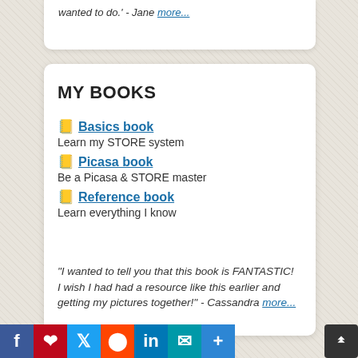wanted to do.' - Jane more...
MY BOOKS
📒 Basics book
Learn my STORE system
📒 Picasa book
Be a Picasa & STORE master
📒 Reference book
Learn everything I know
"I wanted to tell you that this book is FANTASTIC! I wish I had had a resource like this earlier and getting my pictures together!" - Cassandra more...
[Figure (infographic): Social share bar with Facebook, Pinterest, Twitter, Reddit, LinkedIn, Email, and More buttons]